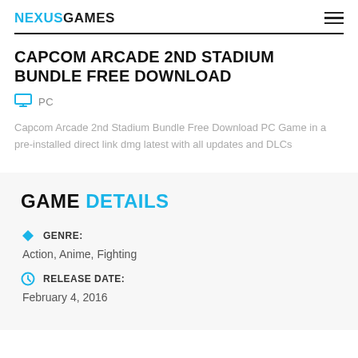NEXUSGAMES
CAPCOM ARCADE 2ND STADIUM BUNDLE FREE DOWNLOAD
PC
Capcom Arcade 2nd Stadium Bundle Free Download PC Game in a pre-installed direct link dmg latest with all updates and DLCs
GAME DETAILS
GENRE:
Action, Anime, Fighting
RELEASE DATE:
February 4, 2016